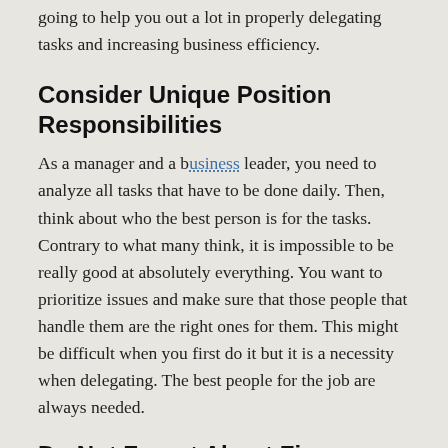happen. This is why the following tips are surely going to help you out a lot in properly delegating tasks and increasing business efficiency.
Consider Unique Position Responsibilities
As a manager and a business leader, you need to analyze all tasks that have to be done daily. Then, think about who the best person is for the tasks. Contrary to what many think, it is impossible to be really good at absolutely everything. You want to prioritize issues and make sure that those people that handle them are the right ones for them. This might be difficult when you first do it but it is a necessity when delegating. The best people for the job are always needed.
Do Not Forget About Finance...